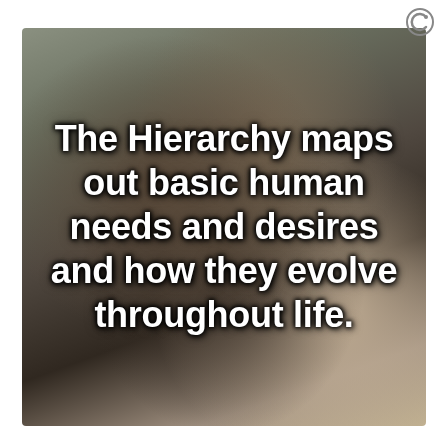[Figure (logo): Circular logo icon with stylized C in top-right corner]
[Figure (photo): Blurred background photo of a woman with dark hair holding something near her face, outdoors with muted green and brown tones]
The Hierarchy maps out basic human needs and desires and how they evolve throughout life.